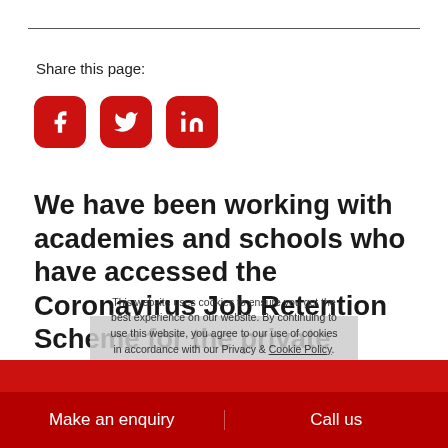Share this page:
[Figure (illustration): Three red rounded square social media icons: Facebook (f), Twitter (bird), LinkedIn (in)]
We have been working with academies and schools who have accessed the Coronavirus Job Retention Scheme for the private income streams, most notably for before- and after-school clubs or some nursery provision, as most
This website uses cookies to ensure you get the best experience on our website. By continuing to use this website, you agree to our use of cookies in accordance with our Privacy & Cookie Policy. Got it!
Make an enquiry   Call us